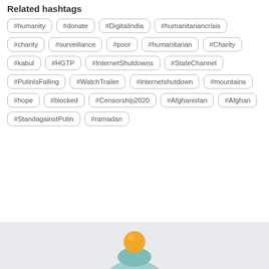Related hashtags
#humanity
#donate
#DigitalIndia
#humanitariancrisis
#charity
#surveillance
#poor
#humanitarian
#Charity
#kabul
#HGTP
#InternetShutdowns
#StateChannel
#PutinIsFalling
#WatchTrailer
#internetshutdown
#mountains
#hope
#blocked
#Censorship2020
#Afghanistan
#Afghan
#StandagainstPutin
#ramadan
[Figure (illustration): User avatar icon with orange head and teal/mint body on a light gray background, partially visible at the bottom of the page]